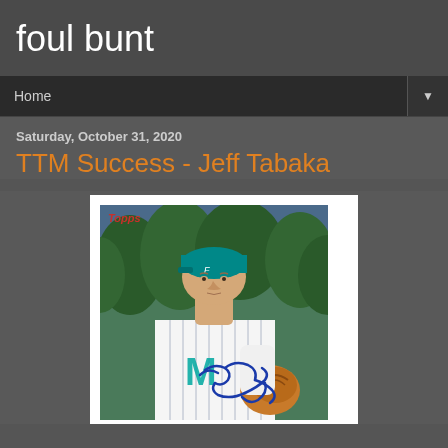foul bunt
Home
Saturday, October 31, 2020
TTM Success - Jeff Tabaka
[Figure (photo): Topps baseball card of Jeff Tabaka in a Florida Marlins uniform, signed with a blue autograph signature]